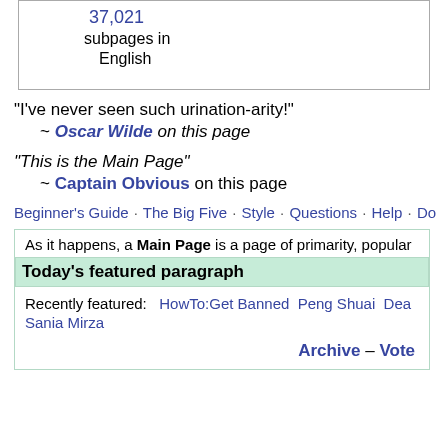37,021
subpages in
English
“I’ve never seen such urination-arity!”
~ Oscar Wilde on this page
“This is the Main Page”
~ Captain Obvious on this page
Beginner’s Guide · The Big Five · Style · Questions · Help · Do
As it happens, a Main Page is a page of primarity, popular
Today’s featured paragraph
Recently featured: HowTo:Get Banned  Peng Shuai  Dea
Sania Mirza
Archive – Vote